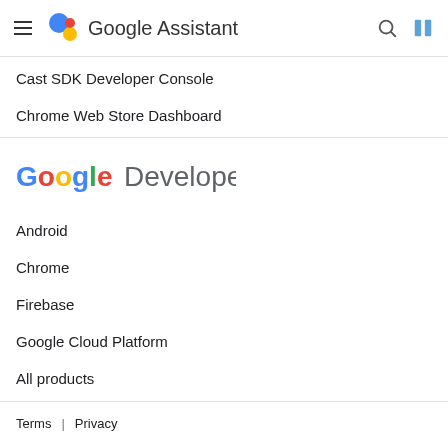Google Assistant
Cast SDK Developer Console
Chrome Web Store Dashboard
[Figure (logo): Google Developers logo with colorful Google wordmark and 'Developers' in gray]
Android
Chrome
Firebase
Google Cloud Platform
All products
Terms  |  Privacy